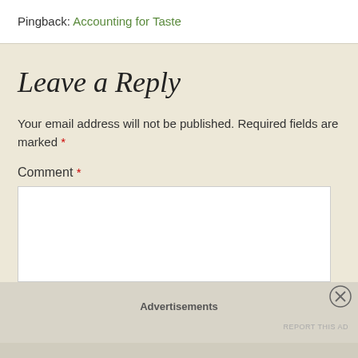Pingback: Accounting for Taste
Leave a Reply
Your email address will not be published. Required fields are marked *
Comment *
Advertisements
REPORT THIS AD